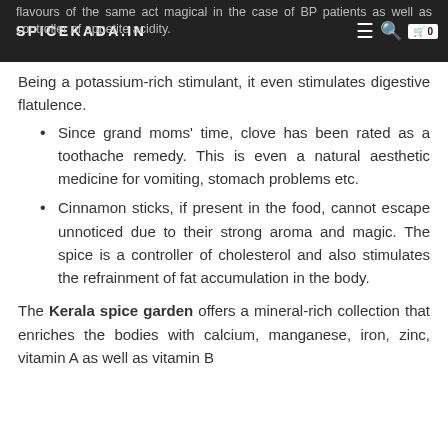SPICEKADA.IN
flavours of the same act magical in the case of BP patients as well as controller of appetite acidity.
Being a potassium-rich stimulant, it even stimulates digestive flatulence.
Since grand moms' time, clove has been rated as a toothache remedy. This is even a natural aesthetic medicine for vomiting, stomach problems etc.
Cinnamon sticks, if present in the food, cannot escape unnoticed due to their strong aroma and magic. The spice is a controller of cholesterol and also stimulates the refrainment of fat accumulation in the body.
The Kerala spice garden offers a mineral-rich collection that enriches the bodies with calcium, manganese, iron, zinc, vitamin A as well as vitamin B